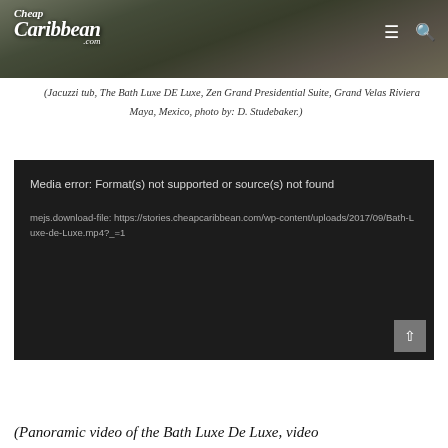[Figure (photo): Header photo of a luxury bathroom/spa area with stone surfaces and a sink, overlaid with the CheapCaribbean.com logo and navigation icons (hamburger menu and search icon) on a dark overlay.]
(Jacuzzi tub, The Bath Luxe DE Luxe, Zen Grand Presidential Suite, Grand Velas Riviera Maya, Mexico, photo by: D. Studebaker.)
Media error: Format(s) not supported or source(s) not found

mejs.download-file: https://stories.cheapcaribbean.com/wp-content/uploads/2017/09/Bath-Luxe-de-Luxe.mp4?_=1
(Panoramic video of the Bath Luxe De Luxe, video